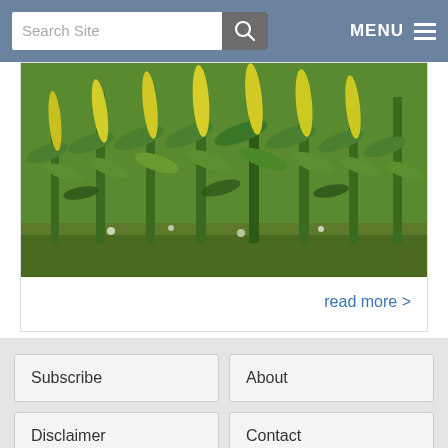Search Site | MENU
[Figure (photo): Photograph of a corn field with tall green and yellow-tipped corn stalks growing in rows, with grass and red soil visible at the base.]
read more >
Subscribe
About
Disclaimer
Contact
Sponsorship
Syndication